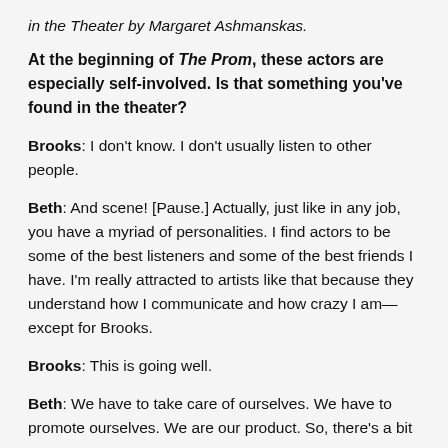in the Theater by Margaret Ashmanskas.
At the beginning of The Prom, these actors are especially self-involved. Is that something you've found in the theater?
Brooks: I don't know. I don't usually listen to other people.
Beth: And scene! [Pause.] Actually, just like in any job, you have a myriad of personalities. I find actors to be some of the best listeners and some of the best friends I have. I'm really attracted to artists like that because they understand how I communicate and how crazy I am—except for Brooks.
Brooks: This is going well.
Beth: We have to take care of ourselves. We have to promote ourselves. We are our product. So, there's a bit